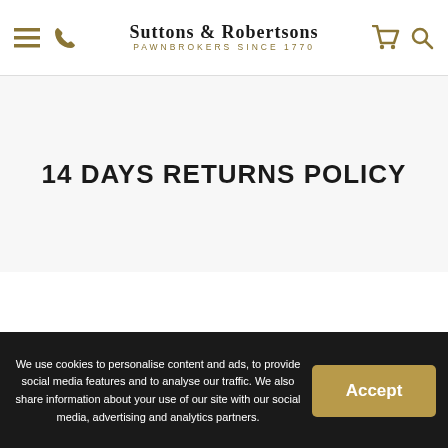Suttons & Robertsons — Pawnbrokers Since 1770
14 DAYS RETURNS POLICY
WE ARE PLEASED TO OFFER HASSLE [FREE]
We use cookies to personalise content and ads, to provide social media features and to analyse our traffic. We also share information about your use of our site with our social media, advertising and analytics partners.